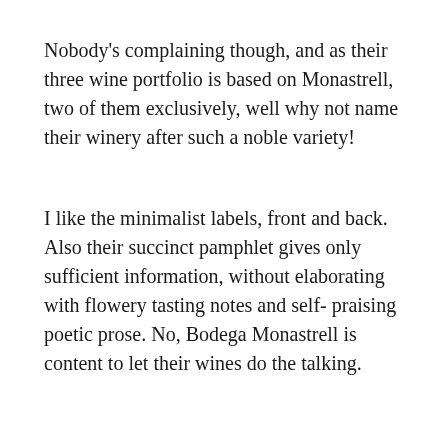Nobody's complaining though, and as their three wine portfolio is based on Monastrell, two of them exclusively, well why not name their winery after such a noble variety!
I like the minimalist labels, front and back. Also their succinct pamphlet gives only sufficient information, without elaborating with flowery tasting notes and self- praising poetic prose. No, Bodega Monastrell is content to let their wines do the talking.